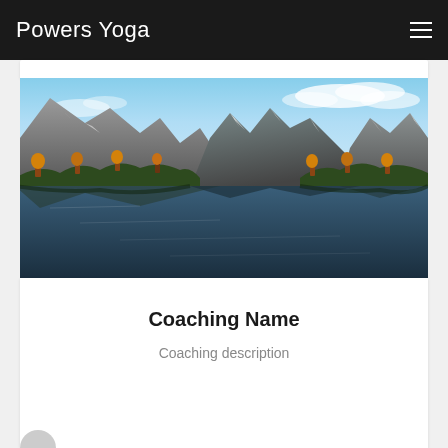Powers Yoga
[Figure (photo): Mountain landscape with a reflective lake in the foreground. Rocky mountains with snow patches, autumn-colored trees, and a partly cloudy sky reflected in calm water.]
Coaching Name
Coaching description